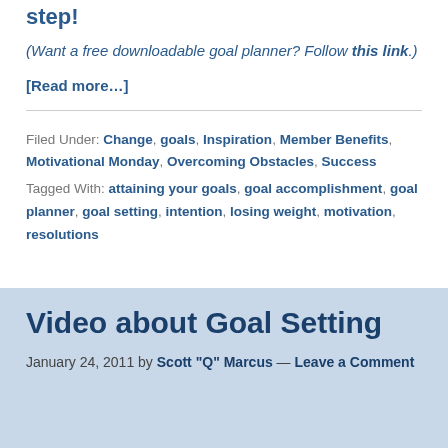step!
(Want a free downloadable goal planner? Follow this link.)
[Read more…]
Filed Under: Change, goals, Inspiration, Member Benefits, Motivational Monday, Overcoming Obstacles, Success
Tagged With: attaining your goals, goal accomplishment, goal planner, goal setting, intention, losing weight, motivation, resolutions
Video about Goal Setting
January 24, 2011 by Scott "Q" Marcus — Leave a Comment